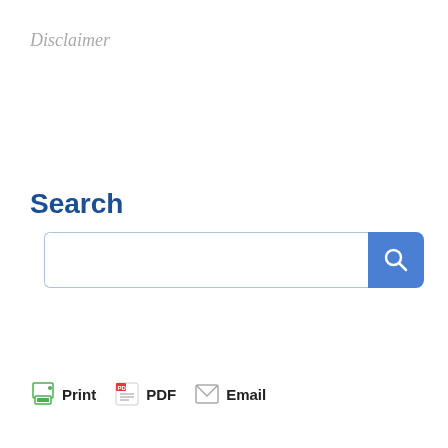Disclaimer
Search
[Figure (screenshot): Search bar with text input field and blue search button with magnifying glass icon]
Print   PDF   Email